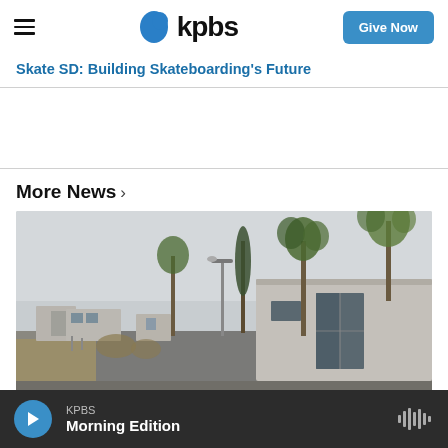kpbs | Give Now
Skate SD: Building Skateboarding's Future
More News ›
[Figure (photo): Abandoned mobile home park with old trailers, palm trees, and overgrown weeds on a cloudy day]
KPBS Morning Edition